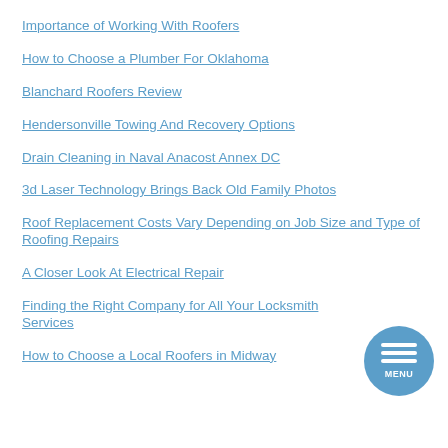Importance of Working With Roofers
How to Choose a Plumber For Oklahoma
Blanchard Roofers Review
Hendersonville Towing And Recovery Options
Drain Cleaning in Naval Anacost Annex DC
3d Laser Technology Brings Back Old Family Photos
Roof Replacement Costs Vary Depending on Job Size and Type of Roofing Repairs
A Closer Look At Electrical Repair
Finding the Right Company for All Your Locksmith Services
How to Choose a Local Roofers in Midway